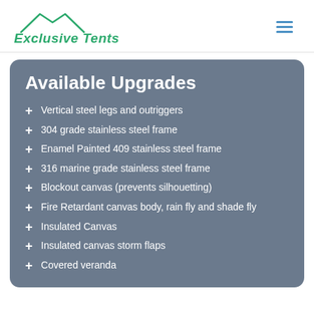Exclusive Tents
Available Upgrades
Vertical steel legs and outriggers
304 grade stainless steel frame
Enamel Painted 409 stainless steel frame
316 marine grade stainless steel frame
Blockout canvas (prevents silhouetting)
Fire Retardant canvas body, rain fly and shade fly
Insulated Canvas
Insulated canvas storm flaps
Covered veranda